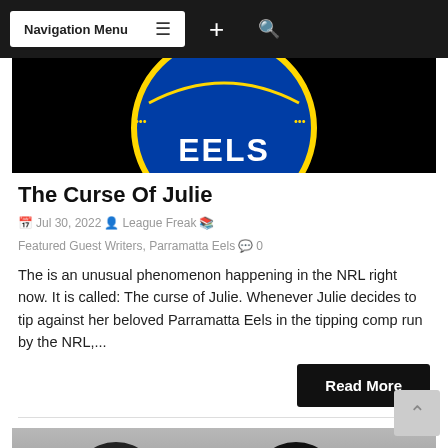Navigation Menu
[Figure (photo): Parramatta Eels logo on black background — blue circular badge with 'EELS' text visible]
The Curse Of Julie
Jul 30, 2022  League Freak  Featured Guest Writers, Parramatta Eels  0
The is an unusual phenomenon happening in the NRL right now. It is called: The curse of Julie. Whenever Julie decides to tip against her beloved Parramatta Eels in the tipping comp run by the NRL,...
Read More
[Figure (illustration): Two cartoon hoodie figures — left figure wearing sunglasses with beard, right figure with glowing eyes and gold teeth, both in black hoodies against grey gradient background]